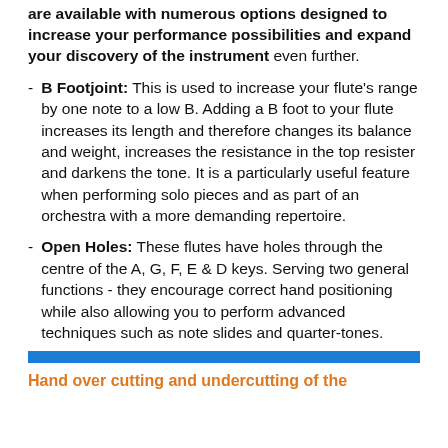are available with numerous options designed to increase your performance possibilities and expand your discovery of the instrument even further.
B Footjoint: This is used to increase your flute's range by one note to a low B. Adding a B foot to your flute increases its length and therefore changes its balance and weight, increases the resistance in the top resister and darkens the tone. It is a particularly useful feature when performing solo pieces and as part of an orchestra with a more demanding repertoire.
Open Holes: These flutes have holes through the centre of the A, G, F, E & D keys. Serving two general functions - they encourage correct hand positioning while also allowing you to perform advanced techniques such as note slides and quarter-tones.
Hand over cutting and undercutting of the